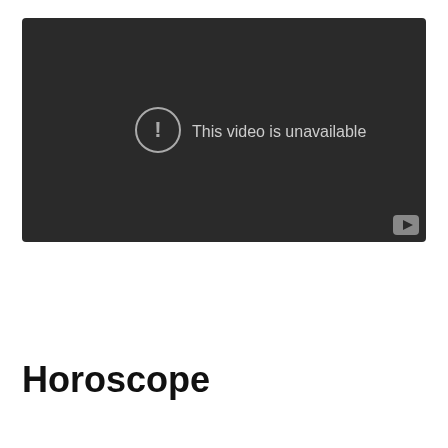[Figure (screenshot): YouTube video embed showing 'This video is unavailable' error message on a dark background with a YouTube icon in the bottom-right corner.]
Horoscope